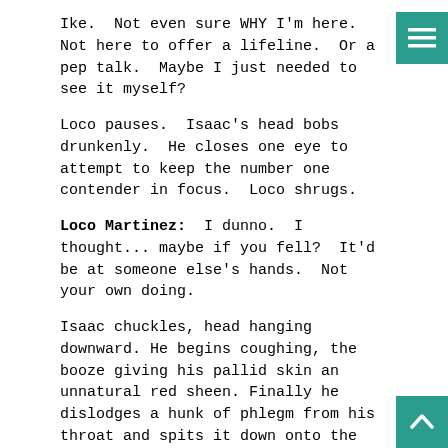Ike.  Not even sure WHY I'm here.  Not here to offer a lifeline.  Or a pep talk.  Maybe I just needed to see it myself?
Loco pauses.  Isaac's head bobs drunkenly.  He closes one eye to attempt to keep the number one contender in focus.  Loco shrugs.
Loco Martinez:  I dunno.  I thought... maybe if you fell?  It'd be at someone else's hands.  Not your own doing.
Isaac chuckles, head hanging downward. He begins coughing, the booze giving his pallid skin an unnatural red sheen. Finally he dislodges a hunk of phlegm from his throat and spits it down onto the floor.
He raises his wobbly head to look at Loco while wiping some drool from the corner of his mouth.
Ent...